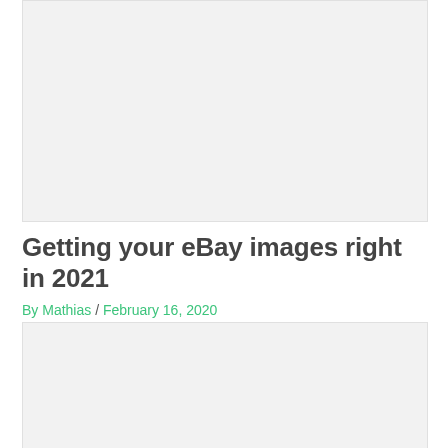[Figure (photo): Top image placeholder with light gray background]
Getting your eBay images right in 2021
By Mathias / February 16, 2020
[Figure (photo): Bottom image placeholder with light gray background]